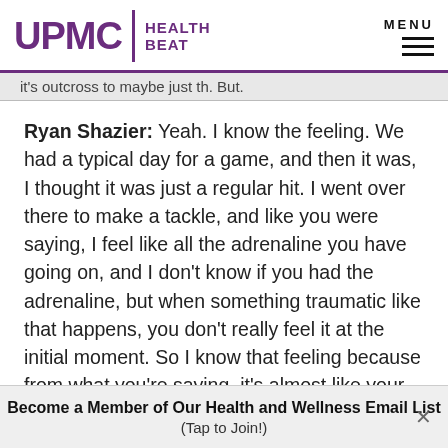UPMC | HEALTH BEAT
it's outcross to maybe just th. But.
Ryan Shazier: Yeah. I know the feeling. We had a typical day for a game, and then it was, I thought it was just a regular hit. I went over there to make a tackle, and like you were saying, I feel like all the adrenaline you have going on, and I don't know if you had the adrenaline, but when something traumatic like that happens, you don't really feel it at the initial moment. So I know that feeling because from what you're saying, it's almost like your car had like a pinball effect. It hit the house, came back onto the street, and that sounds crazy to
Become a Member of Our Health and Wellness Email List (Tap to Join!)